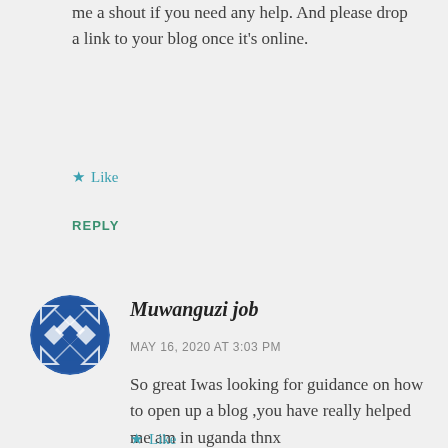me a shout if you need any help. And please drop a link to your blog once it's online.
★ Like
REPLY
Muwanguzi job
MAY 16, 2020 AT 3:03 PM
So great Iwas looking for guidance on how to open up a blog ,you have really helped me am in uganda thnx
★ Like